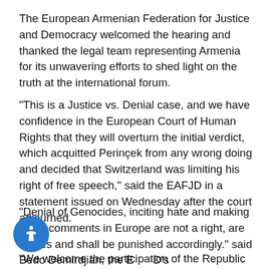The European Armenian Federation for Justice and Democracy welcomed the hearing and thanked the legal team representing Armenia for its unwavering efforts to shed light on the truth at the international forum.
“This is a Justice vs. Denial case, and we have confidence in the European Court of Human Rights that they will overturn the initial verdict, which acquitted Perinçek from any wrong doing and decided that Switzerland was limiting his right of free speech,” said the EAFJD in a statement issued on Wednesday after the court adjourned.
“Denial of Genocides, inciting hate and making racist comments in Europe are not a right, are crimes and shall be punished accordingly.” said Bedo Demirdjian, the EAFJD’s Communications director, who followed the Court in Strasbourg.
“We welcome the participation of the Republic of Armenia